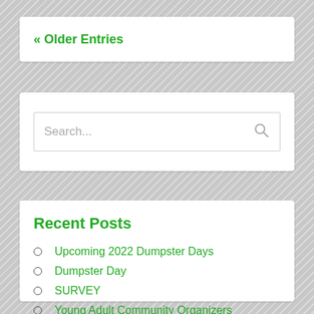« Older Entries
Search...
Recent Posts
Upcoming 2022 Dumpster Days
Dumpster Day
SURVEY
Young Adult Community Organizers
BWCO Zoom Meeting Notes